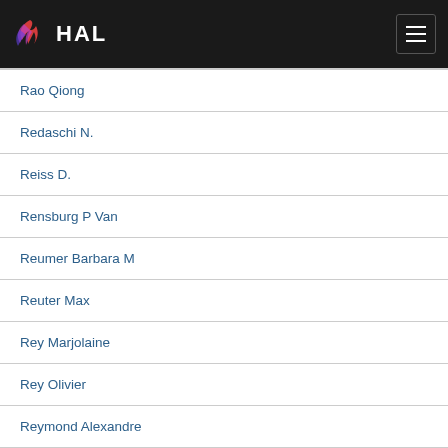HAL
Rao Qiong
Redaschi N.
Reiss D.
Rensburg P Van
Reumer Barbara M
Reuter Max
Rey Marjolaine
Rey Olivier
Reymond Alexandre
Riaz Tiayyba
Ribeca Paolo